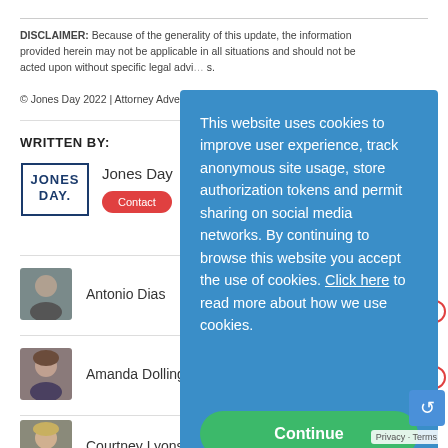DISCLAIMER: Because of the generality of this update, the information provided herein may not be applicable in all situations and should not be acted upon without specific legal advice based on particular situations.
© Jones Day 2022 | Attorney Advertising
WRITTEN BY:
Jones Day
Antonio Dias
Amanda Dollinger
Courtney Lyons Snyder
This website uses cookies to improve user experience, track anonymous site usage, store authorization tokens and permit sharing on social media networks. By continuing to browse this website you accept the use of cookies. Click here to read more about how we use cookies.
Continue
Privacy · Terms